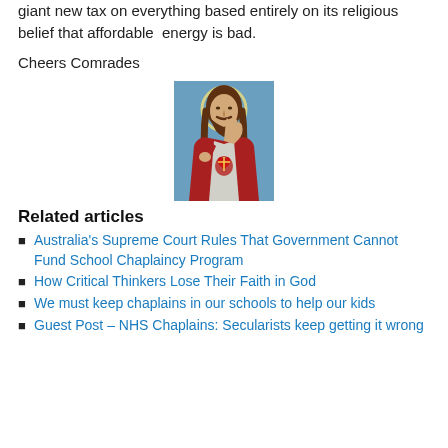giant new tax on everything based entirely on its religious belief that affordable energy is bad.
Cheers Comrades
[Figure (photo): Religious painting of Jesus Christ with sacred heart, wearing red robe, one hand raised in blessing, centered on page]
Related articles
Australia's Supreme Court Rules That Government Cannot Fund School Chaplaincy Program
How Critical Thinkers Lose Their Faith in God
We must keep chaplains in our schools to help our kids
Guest Post – NHS Chaplains: Secularists keep getting it wrong